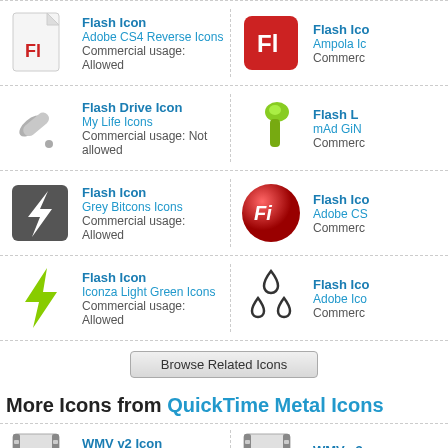Flash Icon | Adobe CS4 Reverse Icons | Commercial usage: Allowed | Flash Ico | Ampola Ic | Commerc
Flash Drive Icon | My Life Icons | Commercial usage: Not allowed | Flash L | mAd GiN | Commerc
Flash Icon | Grey Bitcons Icons | Commercial usage: Allowed | Flash Ico | Adobe CS | Commerc
Flash Icon | Iconza Light Green Icons | Commercial usage: Allowed | Flash Ico | Adobe Ico | Commerc
[Figure (other): Browse Related Icons button]
More Icons from QuickTime Metal Icons
WMV v2 Icon | Download Windows icon, Mac icon | Download PNG files | WMV v3 | Download | Download